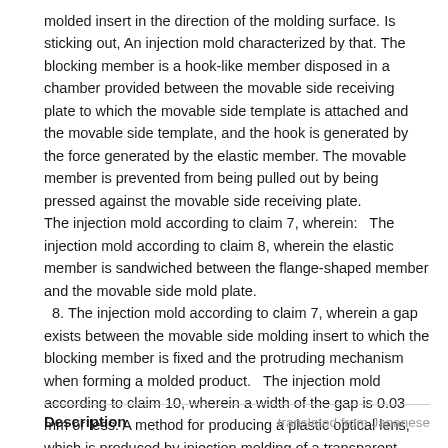molded insert in the direction of the molding surface. Is sticking out, An injection mold characterized by that. The blocking member is a hook-like member disposed in a chamber provided between the movable side receiving plate to which the movable side template is attached and the movable side template, and the hook is generated by the force generated by the elastic member. The movable member is prevented from being pulled out by being pressed against the movable side receiving plate. The injection mold according to claim 7, wherein:   The injection mold according to claim 8, wherein the elastic member is sandwiched between the flange-shaped member and the movable side mold plate.   8. The injection mold according to claim 7, wherein a gap exists between the movable side molding insert to which the blocking member is fixed and the protruding mechanism when forming a molded product.   The injection mold according to claim 10, wherein a width of the gap is 0.03 mm or less. A method for producing a plastic optical lens, which is produced by injection molding of a transparent resin using the injection mold according to any one of claims 7 to 11.
Description
translated from Japanese